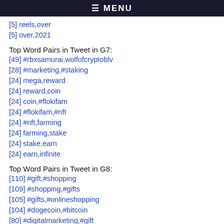≡ MENU
[5] reels,over
[5] over,2021
Top Word Pairs in Tweet in G7:
[49] #rbxsamurai,wolfofcryptoblv
[28] #marketing,#staking
[24] mega,reward
[24] reward,coin
[24] coin,#flokifam
[24] #flokifam,#nft
[24] #nft,farming
[24] farming,stake
[24] stake,earn
[24] earn,infinite
Top Word Pairs in Tweet in G8:
[110] #gift,#shopping
[109] #shopping,#gifts
[105] #gifts,#onlineshopping
[104] #dogecoin,#bitcoin
[80] #digitalmarketing,#gift
[68] #onlineshopping,#dogecoin
[68] #bitcoin,#marketing
[68] #marketing,#affiliatemarketing
[68] #affiliatemarketing,#freeshipping